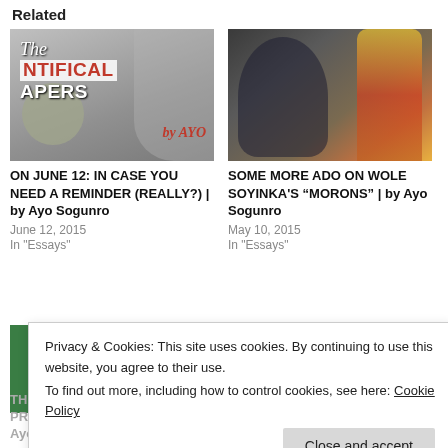Related
[Figure (illustration): Book cover image for 'The Pontifical Papers by Ayo' — grey-toned photo background with stylized text overlay and a circular emblem]
ON JUNE 12: IN CASE YOU NEED A REMINDER (REALLY?) | by Ayo Sogunro
June 12, 2015
In "Essays"
[Figure (photo): Photo of an elderly man with white beard in blue clothing gesturing, with a woman in colorful dress beside him]
SOME MORE ADO ON WOLE SOYINKA'S “MORONS” | by Ayo Sogunro
May 10, 2015
In "Essays"
[Figure (illustration): Nigerian flag themed book cover with PRESIDENT text and an orange circle]
THE GROSS MISCONDUCTS OF PRESIDENT BUHARI | by Ayo Sogunro
Privacy & Cookies: This site uses cookies. By continuing to use this website, you agree to their use.
To find out more, including how to control cookies, see here: Cookie Policy
Close and accept